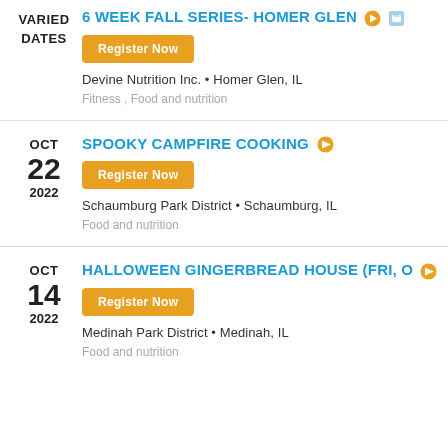VARIED DATES - 6 WEEK FALL SERIES- HOMER GLEN
Register Now
Devine Nutrition Inc. • Homer Glen, IL
Fitness , Food and nutrition
OCT 22 2022 - SPOOKY CAMPFIRE COOKING
Register Now
Schaumburg Park District • Schaumburg, IL
Food and nutrition
OCT 14 2022 - HALLOWEEN GINGERBREAD HOUSE (FRI, O...
Register Now
Medinah Park District • Medinah, IL
Food and nutrition